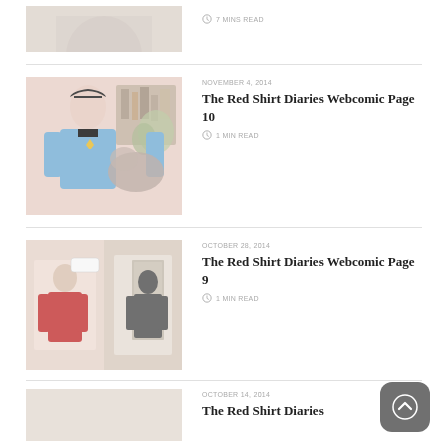[Figure (photo): Partial top article thumbnail - cropped image of person at top of page]
7 MINS READ
[Figure (illustration): Spock character in blue Star Trek uniform sitting in a room with bookshelf and plant]
NOVEMBER 4, 2014
The Red Shirt Diaries Webcomic Page 10
1 MIN READ
[Figure (illustration): Two panel webcomic showing figures in doorway scene]
OCTOBER 28, 2014
The Red Shirt Diaries Webcomic Page 9
1 MIN READ
OCTOBER 14, 2014
The Red Shirt Diaries